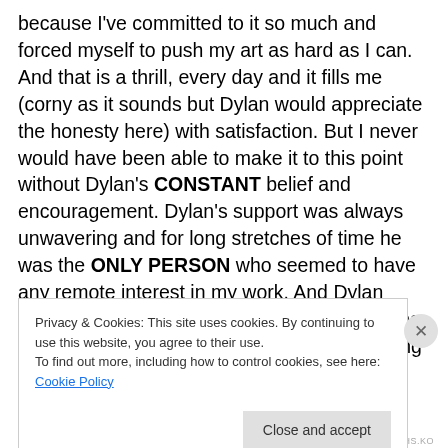because I've committed to it so much and forced myself to push my art as hard as I can. And that is a thrill, every day and it fills me (corny as it sounds but Dylan would appreciate the honesty here) with satisfaction. But I never would have been able to make it to this point without Dylan's CONSTANT belief and encouragement. Dylan's support was always unwavering and for long stretches of time he was the ONLY PERSON who seemed to have any remote interest in my work. And Dylan believed in treating people this way, respecting them in this way. He knew it was the right thing to do. I tried to tell him over and over
Privacy & Cookies: This site uses cookies. By continuing to use this website, you agree to their use.
To find out more, including how to control cookies, see here: Cookie Policy
Close and accept
RLDBPCTHS.KO